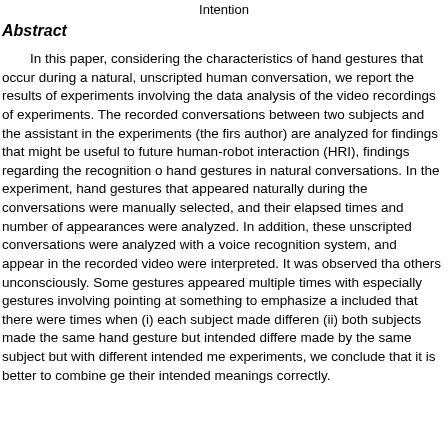Intention
Abstract
In this paper, considering the characteristics of hand gestures that occur during a natural, unscripted human conversation, we report the results of experiments involving the data analysis of the video recordings of experiments. The recorded conversations between two subjects and the assistant in the experiments (the first author) are analyzed for findings that might be useful to future human-robot interaction (HRI), findings regarding the recognition of hand gestures in natural conversations. In the experiment, hand gestures that appeared naturally during the conversations were manually selected, and their elapsed times and number of appearances were analyzed. In addition, these unscripted conversations were analyzed with a voice recognition system, and appear in the recorded video were interpreted. It was observed that others unconsciously. Some gestures appeared multiple times with especially gestures involving pointing at something to emphasize a included that there were times when (i) each subject made different (ii) both subjects made the same hand gesture but intended different made by the same subject but with different intended meanings. From experiments, we conclude that it is better to combine gestures with their intended meanings correctly.